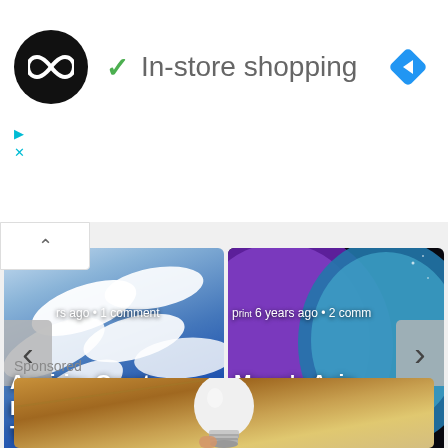[Figure (screenshot): Ad banner with black circle logo containing white infinity/loop icon, green checkmark, 'In-store shopping' text, and blue diamond navigation icon. Small cyan ad controls (play and X icons) below left.]
[Figure (photo): Carousel card 1: photo of white aspirin pills on blue background. Text overlay: 'rs ago • 1 comment' and 'Aspirin: Great Immediate Treatment for ...' with left navigation arrow.]
[Figure (photo): Carousel card 2: photo of moon with purple and teal tones on black background. Text overlay: '6 years ago • 2 comm' and 'Moon's Axis Shifted Six Degrees More ..' with right navigation arrow.]
Sponsored
[Figure (photo): Bottom sponsored ad: partial photo showing a light bulb (white bulb with metallic silver screw base) held by a hand, against a golden/brown background.]